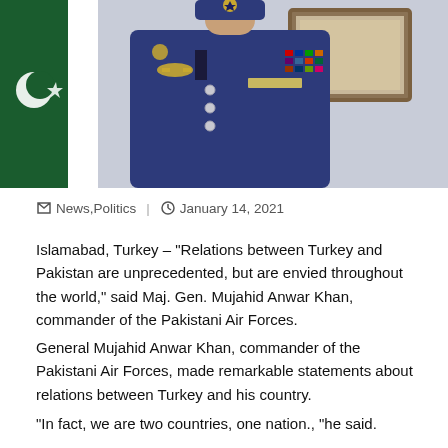[Figure (photo): Pakistani Air Force General in blue dress uniform with medals and insignia, standing in front of Pakistani flag and framed artwork]
News,Politics  |  January 14, 2021
Islamabad, Turkey – "Relations between Turkey and Pakistan are unprecedented, but are envied throughout the world," said Maj. Gen. Mujahid Anwar Khan, commander of the Pakistani Air Forces.
General Mujahid Anwar Khan, commander of the Pakistani Air Forces, made remarkable statements about relations between Turkey and his country.
"In fact, we are two countries, one nation., "he said.
he that Turkey and Pakistan exist on the challenges of life